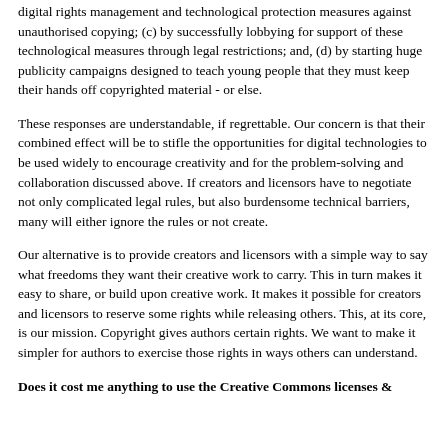digital rights management and technological protection measures against unauthorised copying; (c) by successfully lobbying for support of these technological measures through legal restrictions; and, (d) by starting huge publicity campaigns designed to teach young people that they must keep their hands off copyrighted material - or else.
These responses are understandable, if regrettable. Our concern is that their combined effect will be to stifle the opportunities for digital technologies to be used widely to encourage creativity and for the problem-solving and collaboration discussed above. If creators and licensors have to negotiate not only complicated legal rules, but also burdensome technical barriers, many will either ignore the rules or not create.
Our alternative is to provide creators and licensors with a simple way to say what freedoms they want their creative work to carry. This in turn makes it easy to share, or build upon creative work. It makes it possible for creators and licensors to reserve some rights while releasing others. This, at its core, is our mission. Copyright gives authors certain rights. We want to make it simpler for authors to exercise those rights in ways others can understand.
Does it cost me anything to use the Creative Commons licenses &